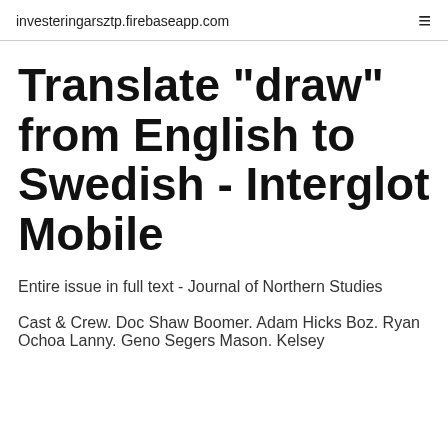investeringarsztp.firebaseapp.com
Translate "draw" from English to Swedish - Interglot Mobile
Entire issue in full text - Journal of Northern Studies
Cast & Crew. Doc Shaw Boomer. Adam Hicks Boz. Ryan Ochoa Lanny. Geno Segers Mason. Kelsey